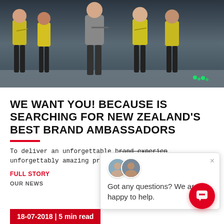[Figure (photo): Group photo of people in yellow and black athletic gear standing with arms crossed in front of a dark background]
WE WANT YOU! BECAUSE IS SEARCHING FOR NEW ZEALAND'S BEST BRAND AMBASSADORS
To deliver an unforgettable brand experience, unforgettably amazing prom
FULL STORY
OUR NEWS
Got any questions? We are happy to help.
18-07-2018 | 5 min read